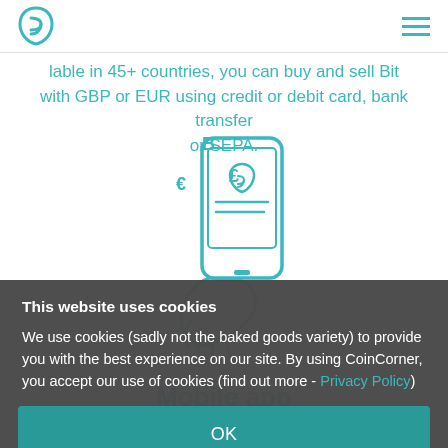CoinCorner logo and navigation hamburger menu
lable in 45+ countries, you can buy and sell Bit with GBP or EUR using credit or debit card, bank transfer or SEPA.
[Figure (illustration): Hand holding a smartphone with the CoinCorner logo on screen, surrounded by cryptocurrency and currency symbols (B, €, £)]
Mobile app
This website uses cookies
We use cookies (sadly not the baked goods variety) to provide you with the best experience on our site. By using CoinCorner, you accept our use of cookies (find out more - Privacy Policy)